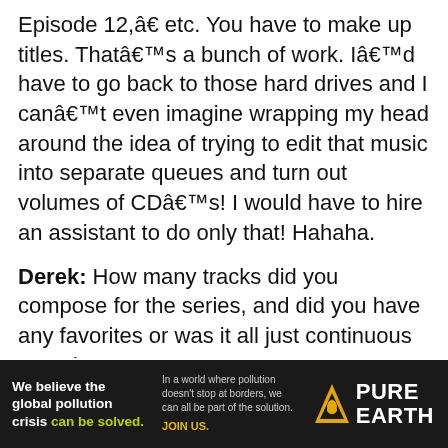Episode 12,â€ etc. You have to make up titles. Thatâ€™s a bunch of work. Iâ€™d have to go back to those hard drives and I canâ€™t even imagine wrapping my head around the idea of trying to edit that music into separate queues and turn out volumes of CDâ€™s! I would have to hire an assistant to do only that! Hahaha.
Derek: How many tracks did you compose for the series, and did you have any favorites or was it all just continuous sound?
Mark: It was very continuous. I loved playing the guitar all day long because that was my first instrument, and I enjoyed doing that. But then the fact I would do that for 3 or 4 shows
[Figure (infographic): Pure Earth advertisement banner: dark background with text 'We believe the global pollution crisis can be solved.' and 'In a world where pollution doesn't stop at borders, we can all be part of the solution. JOIN US.' with Pure Earth logo (triangle with droplet icon).]